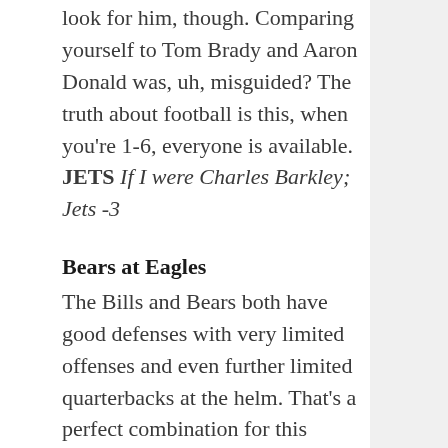look for him, though. Comparing yourself to Tom Brady and Aaron Donald was, uh, misguided? The truth about football is this, when you're 1-6, everyone is available. JETS If I were Charles Barkley; Jets -3
Bears at Eagles
The Bills and Bears both have good defenses with very limited offenses and even further limited quarterbacks at the helm. That's a perfect combination for this version of the Eagles. Carson Wentz and the offense are good enough to produce against elite defenses as long as their own defense doesn't put them in